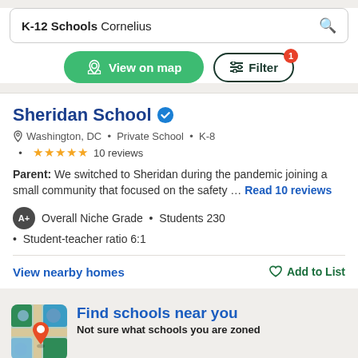K-12 Schools Cornelius
View on map
Filter 1
Sheridan School
Washington, DC · Private School · K-8 · ★★★★★ 10 reviews
Parent: We switched to Sheridan during the pandemic joining a small community that focused on the safety ... Read 10 reviews
A+ Overall Niche Grade · Students 230 · Student-teacher ratio 6:1
View nearby homes
Add to List
[Figure (map): Map thumbnail with orange location pin marker]
Find schools near you
Not sure what schools you are zoned